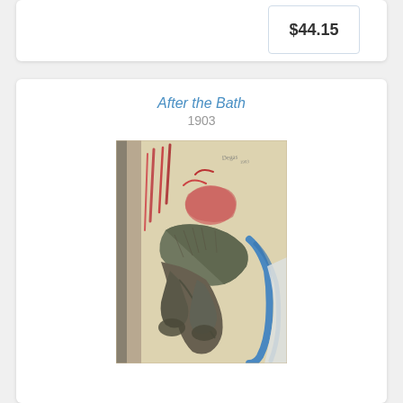$44.15
After the Bath
1903
[Figure (illustration): Pastel drawing by Degas titled 'After the Bath' (1903), showing a nude figure bent over, drying themselves, with reddish background elements and blue fabric to the right. Artist signature visible in upper right corner.]